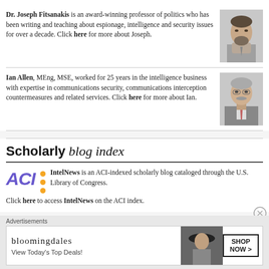Dr. Joseph Fitsanakis is an award-winning professor of politics who has been writing and teaching about espionage, intelligence and security issues for over a decade. Click here for more about Joseph.
[Figure (photo): Headshot photo of Dr. Joseph Fitsanakis, a man with a beard and tie.]
Ian Allen, MEng, MSE, worked for 25 years in the intelligence business with expertise in communications security, communications interception countermeasures and related services. Click here for more about Ian.
[Figure (photo): Headshot photo of Ian Allen, a man with grey hair and a mustache, wearing a suit.]
Scholarly blog index
[Figure (logo): ACI logo in purple letters with three orange dots]
IntelNews is an ACI-indexed scholarly blog cataloged through the U.S. Library of Congress. Click here to access IntelNews on the ACI index.
Advertisements
[Figure (other): Bloomingdale's advertisement banner: 'bloomingdales View Today's Top Deals!' with a woman in a hat and 'SHOP NOW >' button.]